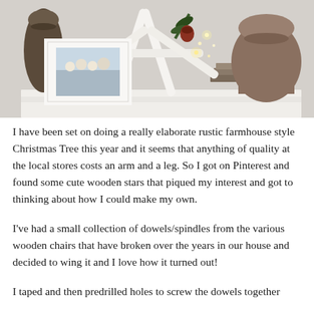[Figure (photo): A decorative shelf scene with a white wooden star made from dowels/spindles with fairy lights, a framed family photo, and a rustic stone/ceramic urn on a white surface.]
I have been set on doing a really elaborate rustic farmhouse style Christmas Tree this year and it seems that anything of quality at the local stores costs an arm and a leg. So I got on Pinterest and found some cute wooden stars that piqued my interest and got to thinking about how I could make my own.
I've had a small collection of dowels/spindles from the various wooden chairs that have broken over the years in our house and decided to wing it and I love how it turned out!
I taped and then predrilled holes to screw the dowels together